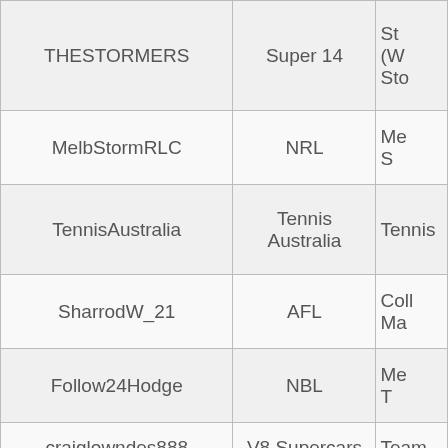| Username | Sport/Competition | Account Name (partial) |
| --- | --- | --- |
| THESTORMERS | Super 14 | St... (W... Sto... |
| MelbStormRLC | NRL | Me... S... |
| TennisAustralia | Tennis Australia | Tennis... |
| SharrodW_21 | AFL | Coll... Ma... |
| Follow24Hodge | NBL | Me... T... |
| craiglowndes888 | V8 Supercars | Team... |
| socceroos_news | World Cup | Soc... |
| AndrewMackieGFC | AFL | Geel... |
| manlyseaeagles | NRL | Ma... E... |
| Rickypetterd15 | AFL | Me... De... |